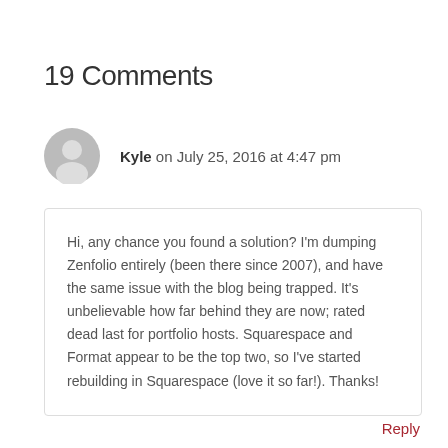19 Comments
Kyle on July 25, 2016 at 4:47 pm
Hi, any chance you found a solution? I'm dumping Zenfolio entirely (been there since 2007), and have the same issue with the blog being trapped. It's unbelievable how far behind they are now; rated dead last for portfolio hosts. Squarespace and Format appear to be the top two, so I've started rebuilding in Squarespace (love it so far!). Thanks!
Reply